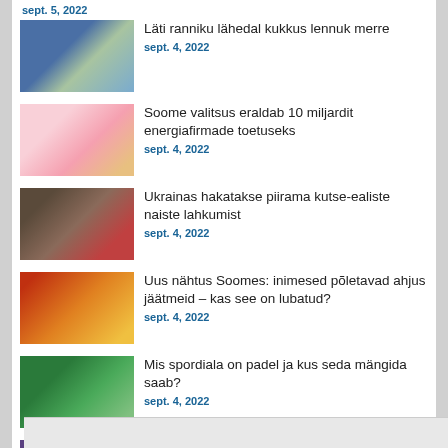sept. 5, 2022
Läti ranniku lähedal kukkus lennuk merre
sept. 4, 2022
Soome valitsus eraldab 10 miljardit energiafirmade toetuseks
sept. 4, 2022
Ukrainas hakatakse piirama kutse-ealiste naiste lahkumist
sept. 4, 2022
Uus nähtus Soomes: inimesed põletavad ahjus jäätmeid – kas see on lubatud?
sept. 4, 2022
Mis spordiala on padel ja kus seda mängida saab?
sept. 4, 2022
VIDEO: Ukrainat toetav venelane räägib, kuidas kohtas esimest korda vene-vastasust
sept. 4, 2022